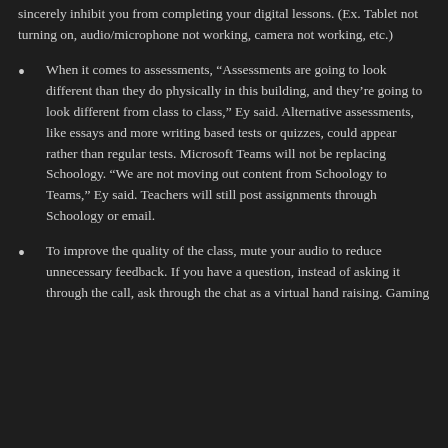sincerely inhibit you from completing your digital lessons. (Ex. Tablet not turning on, audio/microphone not working, camera not working, etc.)
When it comes to assessments, “Assessments are going to look different than they do physically in this building, and they’re going to look different from class to class,” Ey said. Alternative assessments, like essays and more writing based tests or quizzes, could appear rather than regular tests. Microsoft Teams will not be replacing Schoology. “We are not moving out content from Schoology to Teams,” Ey said. Teachers will still post assignments through Schoology or email.
To improve the quality of the class, mute your audio to reduce unnecessary feedback. If you have a question, instead of asking it through the call, ask through the chat as a virtual hand raising. Gaming